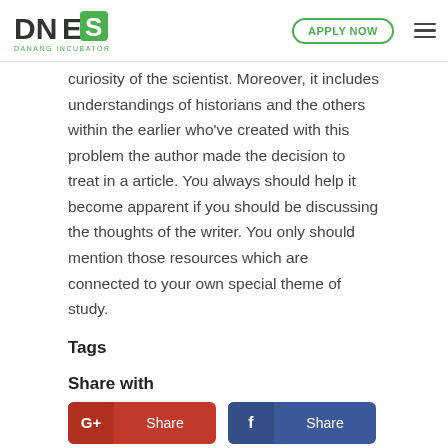DNES DANANG INCUBATOR | APPLY NOW
curiosity of the scientist. Moreover, it includes understandings of historians and the others within the earlier who've created with this problem the author made the decision to treat in a article. You always should help it become apparent if you should be discussing the thoughts of the writer. You only should mention those resources which are connected to your own special theme of study.
Tags
Share with